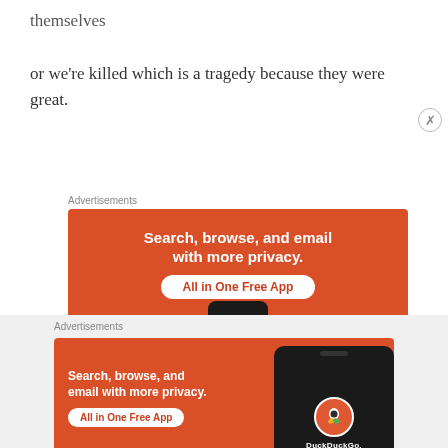themselves
or we're killed which is a tragedy because they were great.
Advertisements
[Figure (illustration): DuckDuckGo advertisement: orange background with white bold text reading 'Search, browse, and email with more privacy. All in One Free App' with a white rounded button and a phone at the bottom.]
Advertisements
[Figure (illustration): DuckDuckGo advertisement (second instance): orange background, left side with white text 'Search, browse, and email with more privacy.' and 'All in One Free App' button, right side showing a dark phone with DuckDuckGo logo and name.]